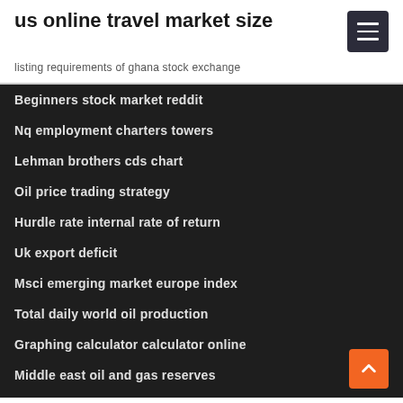us online travel market size
listing requirements of ghana stock exchange
Beginners stock market reddit
Nq employment charters towers
Lehman brothers cds chart
Oil price trading strategy
Hurdle rate internal rate of return
Uk export deficit
Msci emerging market europe index
Total daily world oil production
Graphing calculator calculator online
Middle east oil and gas reserves